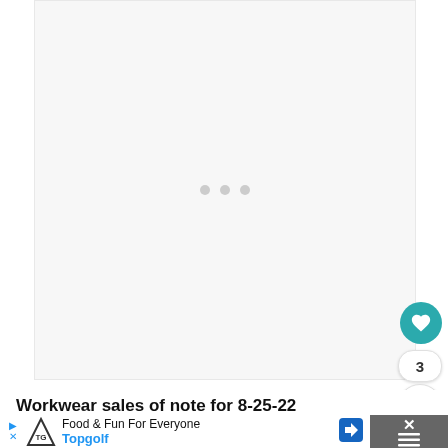[Figure (screenshot): Loading screen with three gray dots centered in a light gray box area]
[Figure (other): Heart/favorite button (teal circle with white heart icon)]
3
[Figure (other): Share button (white circle with share icon)]
Workwear sales of note for 8-25-22
[Figure (other): Advertisement banner: Food & Fun For Everyone - Topgolf, with navigation arrow icon and close button]